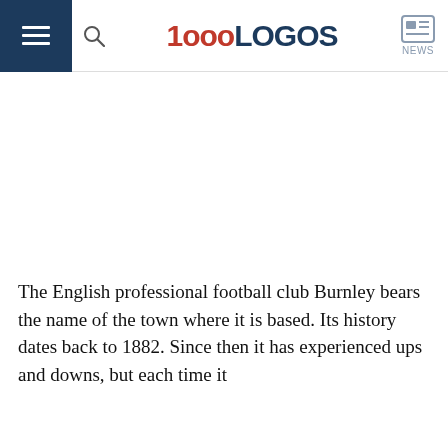1000LOGOS NEWS
The English professional football club Burnley bears the name of the town where it is based. Its history dates back to 1882. Since then it has experienced ups and downs, but each time it